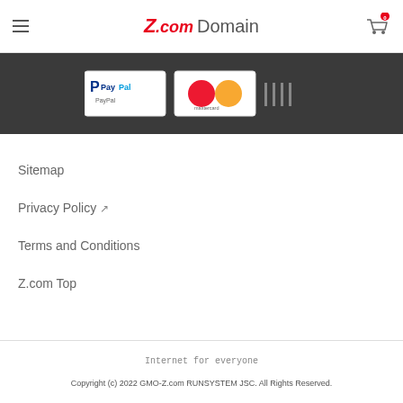Z.com Domain
[Figure (logo): Payment icons: PayPal and Mastercard logos with vertical bar dividers on dark background]
Sitemap
Privacy Policy
Terms and Conditions
Z.com Top
Internet for everyone
Copyright (c) 2022 GMO-Z.com RUNSYSTEM JSC. All Rights Reserved.